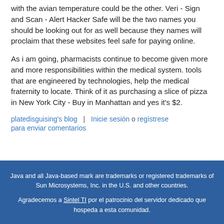with the avian temperature could be the other. Veri - Sign and Scan - Alert Hacker Safe will be the two names you should be looking out for as well because they names will proclaim that these websites feel safe for paying online.
As i am going, pharmacists continue to become given more and more responsibilities within the medical system. tools that are engineered by technologies, help the medical fraternity to locate. Think of it as purchasing a slice of pizza in New York City - Buy in Manhattan and yes it's $2.
platedisguising's blog | Inicie sesión o regístrese para enviar comentarios
Java and all Java-based mark are trademarks or registered trademarks of Sun Microsystems, Inc. in the U.S. and other countries. Agradecemos a Sintel TI por el patrocinio del servidor dedicado que hospeda a esta comunidad.